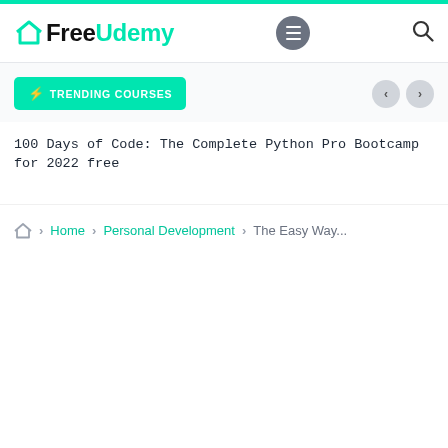FreeUdemy
⚡ TRENDING COURSES
100 Days of Code: The Complete Python Pro Bootcamp for 2022 free
Home > Personal Development > The Easy Way...